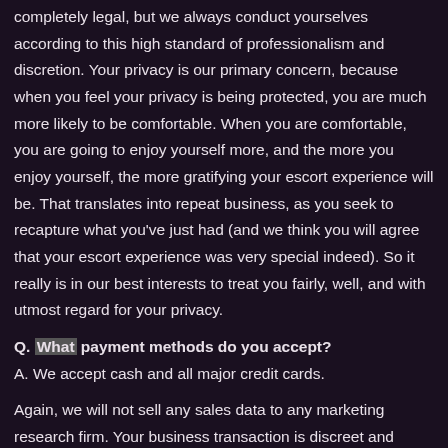completely legal, but we always conduct yourselves according to this high standard of professionalism and discretion. Your privacy is our primary concern, because when you feel your privacy is being protected, you are much more likely to be comfortable. When you are comfortable, you are going to enjoy yourself more, and the more you enjoy yourself, the more gratifying your escort experience will be. That translates into repeat business, as you seek to recapture what you've just had (and we think you will agree that your escort experience was very special indeed). So it really is in our best interests to treat you fairly, well, and with utmost regard for your privacy.
Q. What payment methods do you accept?
A. We accept cash and all major credit cards.
Again, we will not sell any sales data to any marketing research firm. Your business transaction is discreet and private and will stay that way before, during, and after your customer experience